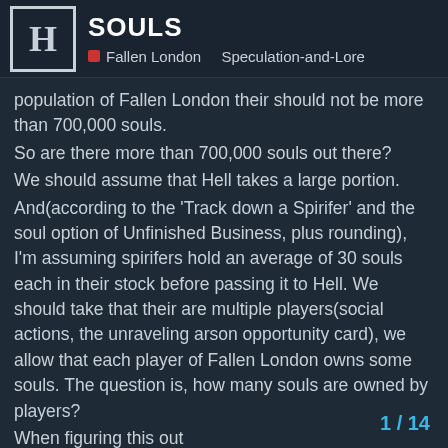SOULS — Fallen London / Speculation-and-Lore
population of Fallen London their should not be more than 700,000 souls.
So are there more than 700,000 souls out there?
We should assume that Hell takes a large portion.
And(according to the 'Track down a Spirifer' and the soul option of Unfinished Business, plus rounding), I'm assuming spirifers hold an average of 30 souls each in their stock before passing it to Hell. We should take that their are multiple players(social actions, the unraveling arson opportunity card), we allow that each player of Fallen London owns some souls. The question is, how many souls are owned by players?
When figuring this out
This information can help us figure out just how many souls Hell gets, how many spirifers there are in the city, and how many souls urchins/bohemians/society/church/rubbery men?/zailors/smugglers/and other NPC characters in Fallen London have horded. And if we find out that the players own more than our number is...
ALEXIS!!!
1 / 14